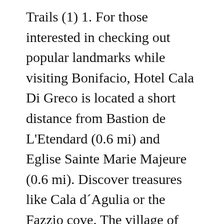Trails (1) 1. For those interested in checking out popular landmarks while visiting Bonifacio, Hotel Cala Di Greco is located a short distance from Bastion de L'Etendard (0.6 mi) and Eglise Sainte Marie Majeure (0.6 mi). Discover treasures like Cala d´Agulia or the Fazzio cove. The village of Girolata is located in the south of Corsica in the north of the ... Rate this beach (1=no interest, 5=excellent). Mineral and/or Locality . Find Last Minute hotels in Plage de Cala Francese near Rogliano, . 20 spomedzi 28 hotely v Budoni so ziskom 4 z 5 bodov na portáli Tripadvisor. O'scia Club, Lampedusa Picture: bar – Check out Tripadvisor members' 21,560 candid photos and videos. Web App. Only eight